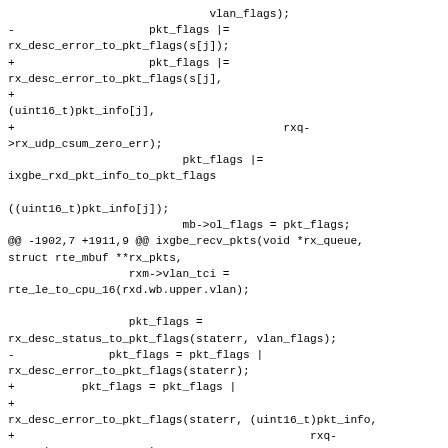Code diff showing changes to ixgbe receive packet flag handling functions including rx_desc_error_to_pkt_flags and ixgbe_rxd_pkt_info_to_pkt_flags